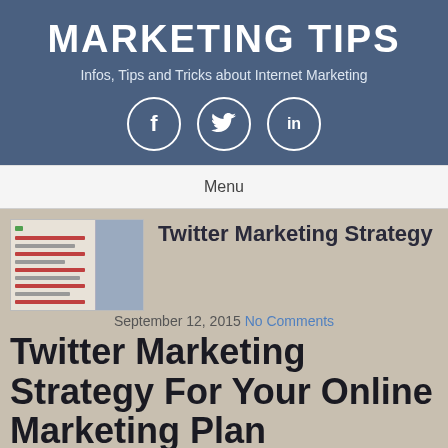MARKETING TIPS
Infos, Tips and Tricks about Internet Marketing
[Figure (infographic): Social media icons: Facebook (f), Twitter (bird), LinkedIn (in) inside white circles on blue background]
Menu
[Figure (screenshot): Thumbnail screenshot of Twitter feed/list page]
Twitter Marketing Strategy
September 12, 2015 No Comments
Twitter Marketing Strategy For Your Online Marketing Plan
Twitter, the social micro blogging site is considered to be one of the fastest and easiest ways to get thousands of targeted